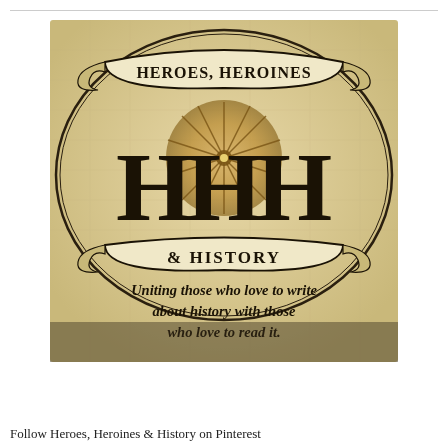[Figure (logo): Heroes, Heroines & History logo on antique parchment background with compass rose. Features large 'HHH' monogram letters, decorative banner ribbon reading 'HEROES, HEROINES & HISTORY', and tagline text 'Uniting those who love to write about history with those who love to read it.']
Follow Heroes, Heroines & History on Pinterest